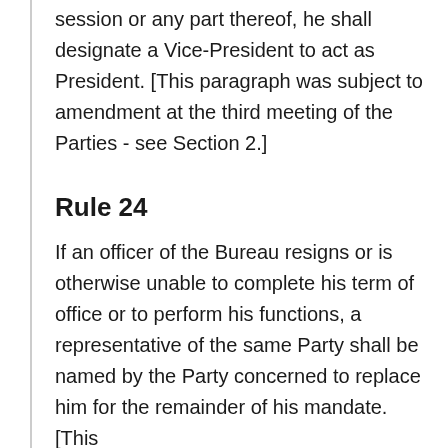session or any part thereof, he shall designate a Vice-President to act as President. [This paragraph was subject to amendment at the third meeting of the Parties - see Section 2.]
Rule 24
If an officer of the Bureau resigns or is otherwise unable to complete his term of office or to perform his functions, a representative of the same Party shall be named by the Party concerned to replace him for the remainder of his mandate. [This